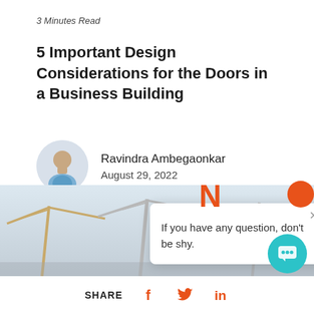3 Minutes Read
5 Important Design Considerations for the Doors in a Business Building
Ravindra Ambegaonkar
August 29, 2022
Read More >
[Figure (photo): Construction cranes against a light sky background]
If you have any question, don't be shy.
SHARE